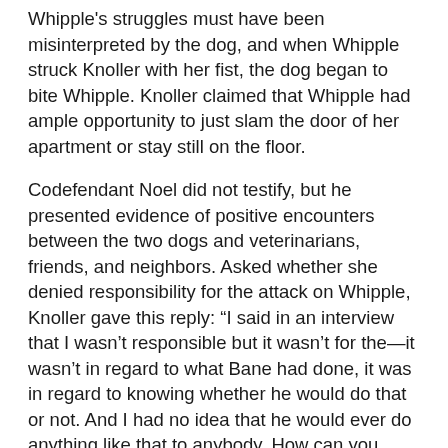Whipple's struggles must have been misinterpreted by the dog, and when Whipple struck Knoller with her fist, the dog began to bite Whipple. Knoller claimed that Whipple had ample opportunity to just slam the door of her apartment or stay still on the floor.
Codefendant Noel did not testify, but he presented evidence of positive encounters between the two dogs and veterinarians, friends, and neighbors. Asked whether she denied responsibility for the attack on Whipple, Knoller gave this reply: “I said in an interview that I wasn’t responsible but it wasn’t for the—it wasn’t in regard to what Bane had done, it was in regard to knowing whether he would do that or not. And I had no idea that he would ever do anything like that to anybody. How can you anticipate something like that? It’s a totally bizarre event. I mean how could you anticipate that a dog that you know that is gentle and loving and affectionate would do something so